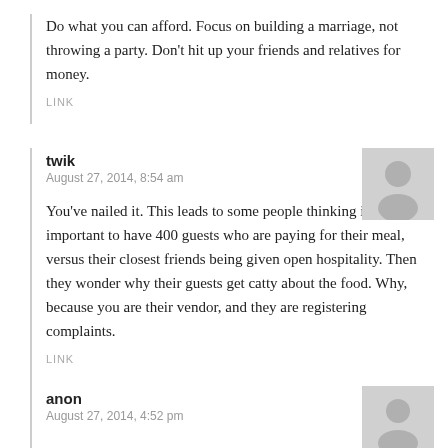Do what you can afford. Focus on building a marriage, not throwing a party. Don't hit up your friends and relatives for money.
LINK
twik
August 27, 2014, 8:54 am
You've nailed it. This leads to some people thinking it is more important to have 400 guests who are paying for their meal, versus their closest friends being given open hospitality. Then they wonder why their guests get catty about the food. Why, because you are their vendor, and they are registering complaints.
LINK
anon
August 27, 2014, 4:52 pm